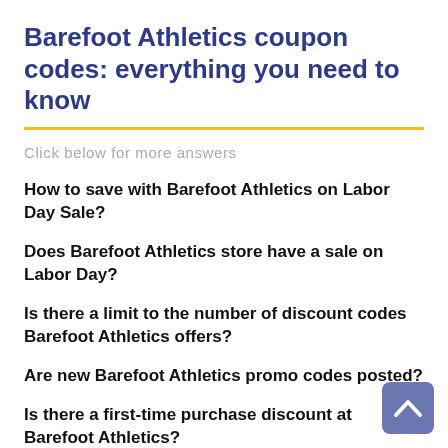Barefoot Athletics coupon codes: everything you need to know
Click below for more answers
How to save with Barefoot Athletics on Labor Day Sale?
Does Barefoot Athletics store have a sale on Labor Day?
Is there a limit to the number of discount codes Barefoot Athletics offers?
Are new Barefoot Athletics promo codes posted?
Is there a first-time purchase discount at Barefoot Athletics?
When are new Barefoot Athletics promo codes released?
To make sure that all Barefoot Athletics coupon codes